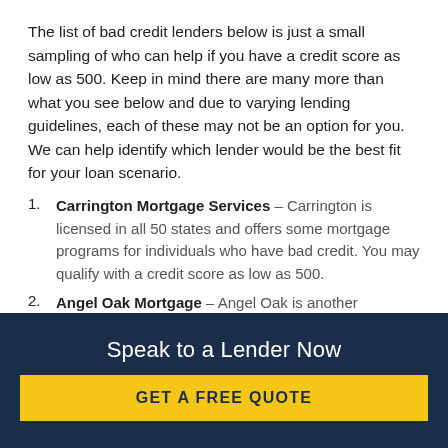The list of bad credit lenders below is just a small sampling of who can help if you have a credit score as low as 500. Keep in mind there are many more than what you see below and due to varying lending guidelines, each of these may not be an option for you. We can help identify which lender would be the best fit for your loan scenario.
Carrington Mortgage Services – Carrington is licensed in all 50 states and offers some mortgage programs for individuals who have bad credit. You may qualify with a credit score as low as 500.
Angel Oak Mortgage – Angel Oak is another subprime lender that offers mortgages to those who have low credit scores. However, they are not licensed in all 50 states and their guidelines are often
Speak to a Lender Now
GET A FREE QUOTE